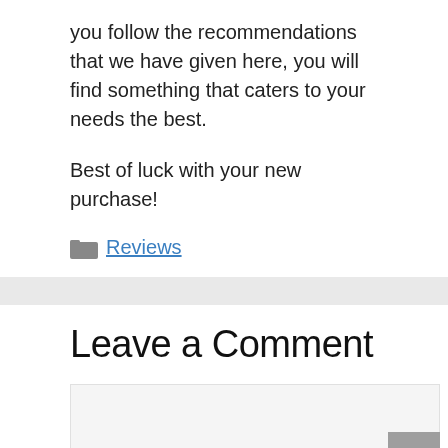you follow the recommendations that we have given here, you will find something that caters to your needs the best.
Best of luck with your new purchase!
Reviews
Leave a Comment
[Figure (other): Comment text area input box with scroll-to-top button]